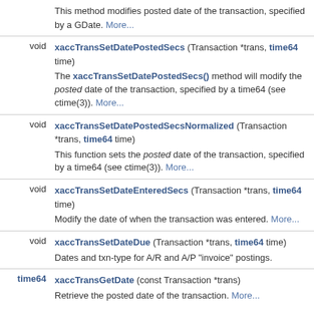| Type | Method/Description |
| --- | --- |
| void | xaccTransSetDatePostedSecs (Transaction *trans, time64 time)
This method modifies posted date of the transaction, specified by a GDate. More... |
| void | xaccTransSetDatePostedSecs (Transaction *trans, time64 time)
The xaccTransSetDatePostedSecs() method will modify the posted date of the transaction, specified by a time64 (see ctime(3)). More... |
| void | xaccTransSetDatePostedSecsNormalized (Transaction *trans, time64 time)
This function sets the posted date of the transaction, specified by a time64 (see ctime(3)). More... |
| void | xaccTransSetDateEnteredSecs (Transaction *trans, time64 time)
Modify the date of when the transaction was entered. More... |
| void | xaccTransSetDateDue (Transaction *trans, time64 time)
Dates and txn-type for A/R and A/P "invoice" postings. |
| time64 | xaccTransGetDate (const Transaction *trans)
Retrieve the posted date of the transaction. More... |